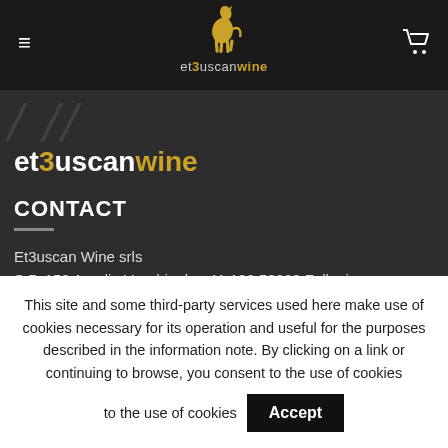et3uscanwine navigation bar with hamburger menu and cart icon
[Figure (logo): et3uscanwine horse logo with golden horse silhouette and brand name below in gold and white text]
et3uscanwine
CONTACT
Et3uscan Wine srls
S.P. 152 Aurelia Vecchia, km 41.100 58022 Follonica
(Gr) - Toscana - Italy
This site and some third-party services used here make use of cookies necessary for its operation and useful for the purposes described in the information note. By clicking on a link or continuing to browse, you consent to the use of cookies